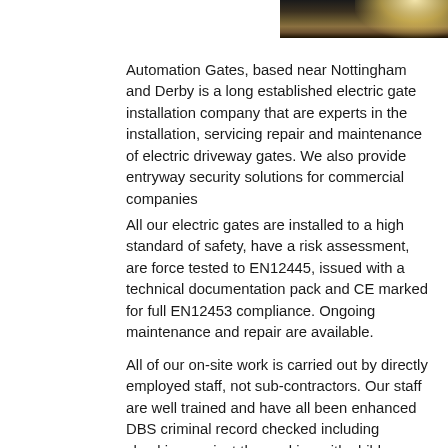[Figure (photo): Dark photograph showing a bright light source, likely a gate or driveway at night with illumination.]
Automation Gates, based near Nottingham and Derby is a long established electric gate installation company that are experts in the installation, servicing repair and maintenance of electric driveway gates. We also provide entryway security solutions for commercial companies
All our electric gates are installed to a high standard of safety, have a risk assessment, are force tested to EN12445, issued with a technical documentation pack and CE marked for full EN12453 compliance. Ongoing maintenance and repair are available.
All of our on-site work is carried out by directly employed staff, not sub-contractors. Our staff are well trained and have all been enhanced DBS criminal record checked including checking against the working with children barred list.